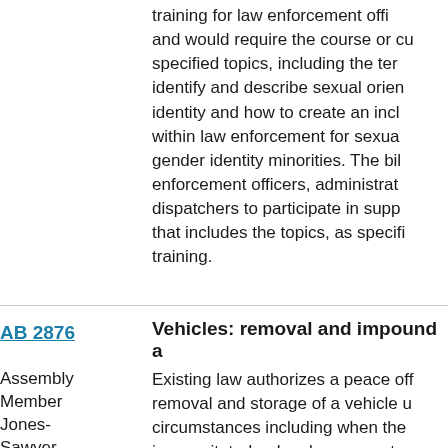training for law enforcement officers and would require the course or curriculum to include specified topics, including the terminology to identify and describe sexual orientation, gender identity and how to create an inclusive environment within law enforcement for sexual orientation and gender identity minorities. The bill would require law enforcement officers, administrators, supervisors, and dispatchers to participate in supplemental training that includes the topics, as specified, in any basic training.
AB 2876
Assembly Member Jones-Sawyer
Vehicles: removal and impound a
Existing law authorizes a peace officer to order the removal and storage of a vehicle under certain circumstances including when the driver is incapacitated or has been arrested